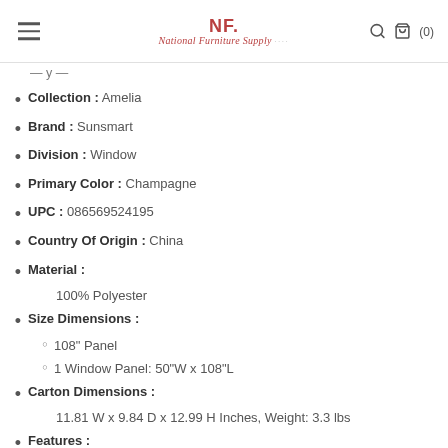NF National Furniture Supply (0)
Collection : Amelia
Brand : Sunsmart
Division : Window
Primary Color : Champagne
UPC : 086569524195
Country Of Origin : China
Material : 100% Polyester
Size Dimensions : 108" Panel | 1 Window Panel: 50"W x 108"L
Carton Dimensions : 11.81 W x 9.84 D x 12.99 H Inches, Weight: 3.3 lbs
Features : SunSmart 100% total blackout knitted Jacquard window panel | Luxe sheen and texture on heavy weight fabric | Foamback and bonding finish to block out all exterior